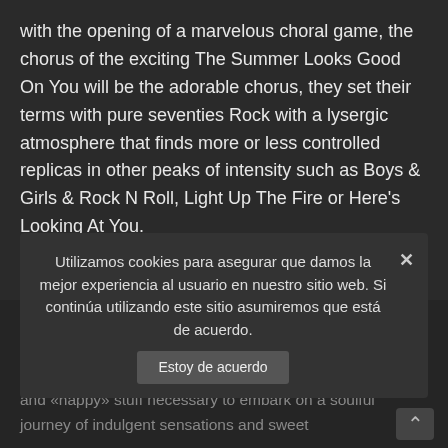with the opening of a marvelous choral game, the chorus of the exciting The Summer Looks Good On You will be the adorable chorus, they set their terms with pure seventies Rock with a lysergic atmosphere that finds more or less controlled replicas in other peaks of intensity such as Boys & Girls & Rock N Roll, Light Up The Fire or Here's Looking At You.
The «Fower Power» Quit Waking Me Up, The Party with that Groove so Hendrix in full Disco Funk alliance, also have great choruses, as well as Final Days where they get drunk of Mafia Blues and establish diversity to the album.
On the other hand, the most intimate atmospheres of the band, surrounded by the «Beatlemaniac» halo inherent to their DNA, exhale the balladic dimension of each «Hippy» and «happy» stuff necessary to embark on a soulful journey of indulgent sensations and sweet
Utilizamos cookies para asegurar que damos la mejor experiencia al usuario en nuestro sitio web. Si continúa utilizando este sitio asumiremos que está de acuerdo.
Estoy de acuerdo